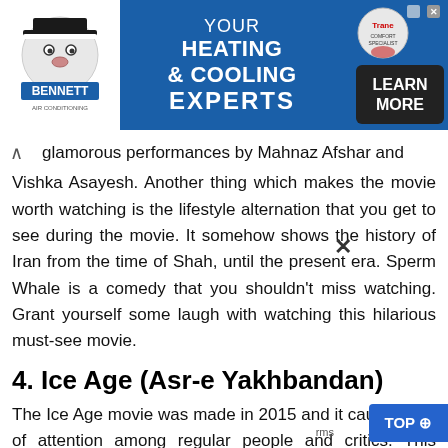[Figure (screenshot): Advertisement banner for Bennett Heating & Cooling with blue background, company mascot on left, text 'YOUR HEATING & COOLING EXPERTS' in center, and 'LEARN MORE' button on right]
glamorous performances by Mahnaz Afshar and Vishka Asayesh. Another thing which makes the movie worth watching is the lifestyle alternation that you get to see during the movie. It somehow shows the history of Iran from the time of Shah, until the present era. Sperm Whale is a comedy that you shouldn't miss watching. Grant yourself some laugh with watching this hilarious must-see movie.
4. Ice Age (Asr-e Yakhbandan)
The Ice Age movie was made in 2015 and it caught a lot of attention among regular people and critics. This drama movie goes through the life of Babak and Monireh. The difficult social situation causes Babak to work a... not being present at home causes a deep gap betw... his and his wife. Therefore, Monireh starts to...